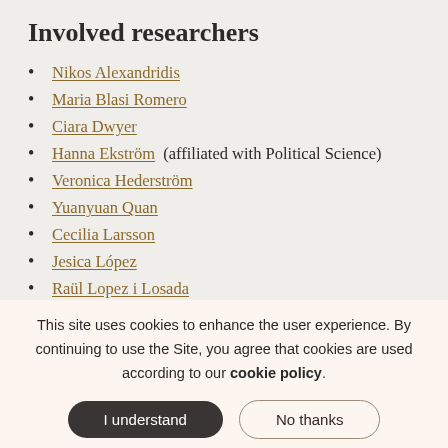Involved researchers
Nikos Alexandridis
Maria Blasi Romero
Ciara Dwyer
Hanna Ekström (affiliated with Political Science)
Veronica Hederström
Yuanyuan Quan
Cecilia Larsson
Jesica López
Raül Lopez i Losada
This site uses cookies to enhance the user experience. By continuing to use the Site, you agree that cookies are used according to our cookie policy.